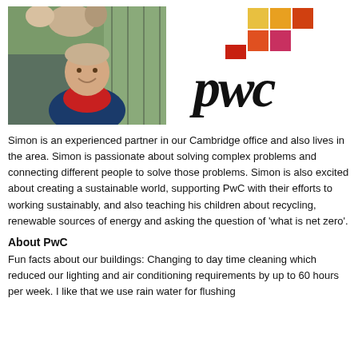[Figure (photo): Photo of Simon, a man smiling outdoors, wearing a blue jacket and red shirt, with birds/fauna in the background]
[Figure (logo): PwC logo: coloured squares mosaic in red, orange, yellow, pink tones, and 'pwc' in bold italic black text]
Simon is an experienced partner in our Cambridge office and also lives in the area. Simon is passionate about solving complex problems and connecting different people to solve those problems. Simon is also excited about creating a sustainable world, supporting PwC with their efforts to working sustainably, and also teaching his children about recycling, renewable sources of energy and asking the question of 'what is net zero'.
About PwC
Fun facts about our buildings: Changing to day time cleaning which reduced our lighting and air conditioning requirements by up to 60 hours per week. I like that we use rain water for flushing toilets in the Cambridge office and also have solar panels.